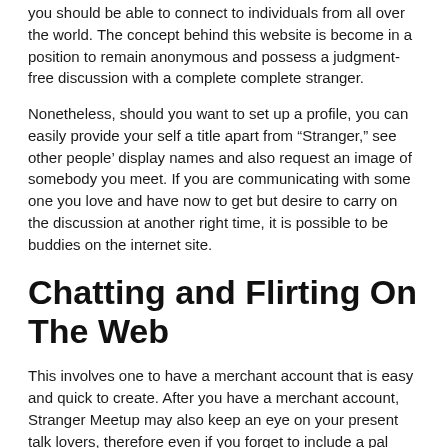you should be able to connect to individuals from all over the world. The concept behind this website is become in a position to remain anonymous and possess a judgment-free discussion with a complete complete stranger.
Nonetheless, should you want to set up a profile, you can easily provide your self a title apart from “Stranger,” see other people’ display names and also request an image of somebody you meet. If you are communicating with some one you love and have now to get but desire to carry on the discussion at another right time, it is possible to be buddies on the internet site.
Chatting and Flirting On The Web
This involves one to have a merchant account that is easy and quick to create. After you have a merchant account, Stranger Meetup may also keep an eye on your present talk lovers, therefore even if you forget to include a pal while you’re making the discussion, you are able to nevertheless contact the individual once again later on. Stranger Meetup can be installed as a software for iOS and Android os products.